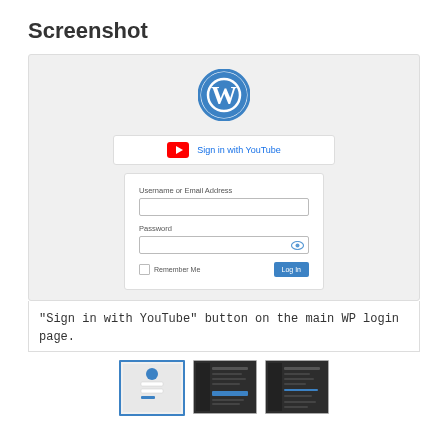Screenshot
[Figure (screenshot): WordPress login page screenshot showing a 'Sign in with YouTube' button above the standard username/password login form with Remember Me checkbox and Log In button.]
"Sign in with YouTube" button on the main WP login page.
[Figure (screenshot): Three thumbnail previews of the plugin screenshots: first (active/selected) shows the WP login page, second shows a dark admin settings panel, third shows another settings panel view.]